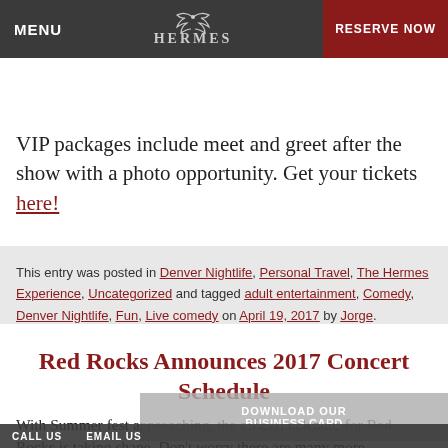MENU | HERMES (logo) | RESERVE NOW
Wayans is best known for his role in White Movie. He will be staring in an upcoming Ne… Naked.
VIP packages include meet and greet after the show with a photo opportunity. Get your tickets here!
This entry was posted in Denver Nightlife, Personal Travel, The Hermes Experience, Uncategorized and tagged adult entertainment, Comedy, Denver Nightlife, Fun, Live comedy on April 19, 2017 by Jorge.
Red Rocks Announces 2017 Concert Schedule
With Summer fest approaching, the official calendar for Red Rocks is taking shape. Don't worry there are many more
CALL US   EMAIL US   DOWNLOAD OUR BUSINESS CARD